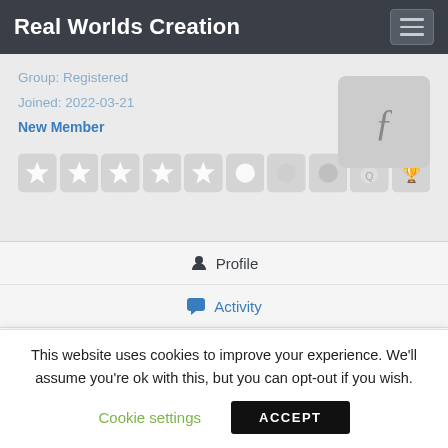Real Worlds Creation
Group: Registered
Joined: 2022-03-21
New Member
[Figure (illustration): Row of badge/star icons and an avatar image with a stylized letter]
Profile
Activity
About Me
This website uses cookies to improve your experience. We'll assume you're ok with this, but you can opt-out if you wish.
Cookie settings    ACCEPT